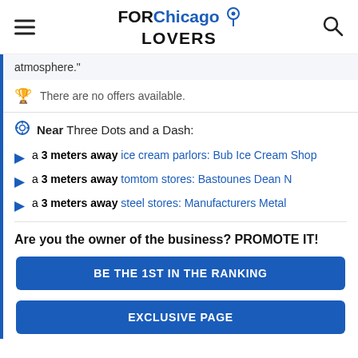FOR Chicago LOVERS
atmosphere."
There are no offers available.
Near Three Dots and a Dash:
a 3 meters away ice cream parlors: Bub Ice Cream Shop
a 3 meters away tomtom stores: Bastounes Dean N
a 3 meters away steel stores: Manufacturers Metal
Are you the owner of the business? PROMOTE IT!
BE THE 1ST IN THE RANKING
EXCLUSIVE PAGE